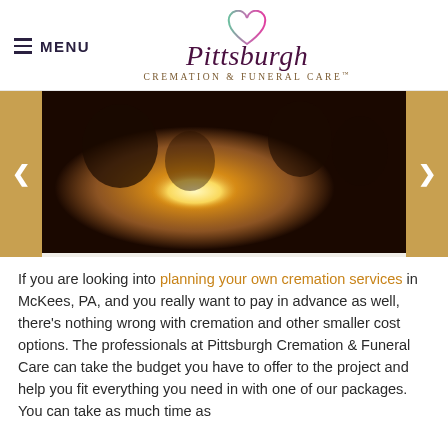≡ MENU | Pittsburgh Cremation & Funeral Care
[Figure (photo): Warm golden-toned atmospheric photo showing silhouetted figures with a central glowing light source, bokeh background, dark dramatic mood.]
If you are looking into planning your own cremation services in McKees, PA, and you really want to pay in advance as well, there's nothing wrong with cremation and other smaller cost options. The professionals at Pittsburgh Cremation & Funeral Care can take the budget you have to offer to the project and help you fit everything you need in with one of our packages. You can take as much time as